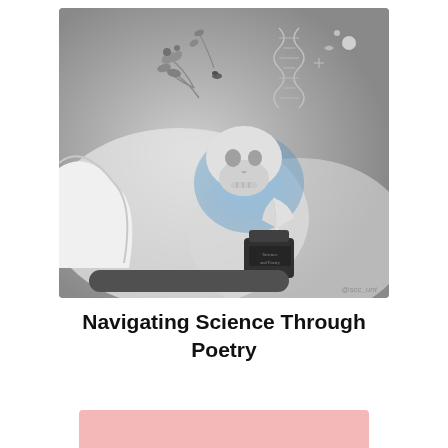[Figure (illustration): Grayscale digital illustration showing a figure in white coat holding a human skull with blue glowing hand, surrounded by DNA helix, botanical plants, and scientific elements. A feather quill dips into an ink bottle labeled 'Science and Poetry'. Watermark '@scc_unt' in bottom right. A rounded dark pill/capsule shape at the bottom of the image.]
Navigating Science Through Poetry